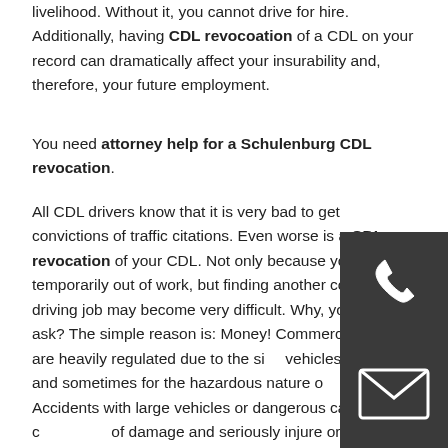livelihood. Without it, you cannot drive for hire. Additionally, having CDL revocoation of a CDL on your record can dramatically affect your insurability and, therefore, your future employment.
You need attorney help for a Schulenburg CDL revocation.
All CDL drivers know that it is very bad to get convictions of traffic citations. Even worse is a CDL revocation of your CDL. Not only because you are temporarily out of work, but finding another commercial driving job may become very difficult. Why, you might ask? The simple reason is: Money! Commercial drivers are heavily regulated due to the size of the vehicles they drive and sometimes for the hazardous nature of the cargo. Accidents with large vehicles or dangerous cargo can cause a lot of damage and seriously injure or kill people. Trucking insurance companies are reluctant to insure a driver who has a lot of traffic violation convictions or who has a suspension, revocation or disqualification of a CDL due to traffic violations. If they choose to insure them at all, the insurance premium payments will be much higher. So, it makes sense that when applying for a job as a commercial truck driver
[Figure (other): Phone icon on dark background]
[Figure (other): Email envelope icon on dark background]